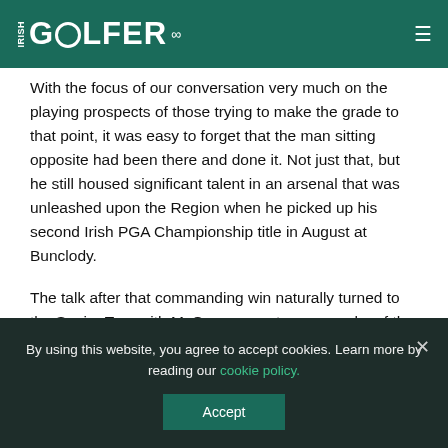IRISH GOLFER
With the focus of our conversation very much on the playing prospects of those trying to make the grade to that point, it was easy to forget that the man sitting opposite had been there and done it. Not just that, but he still housed significant talent in an arsenal that was unleashed upon the Region when he picked up his second Irish PGA Championship title in August at Bunclody.
The talk after that commanding win naturally turned to the Senior Tour with McGrane, now two years shy of the big 5-0, expected by many to reunite with foes of old on
By using this website, you agree to accept cookies. Learn more by reading our cookie policy.